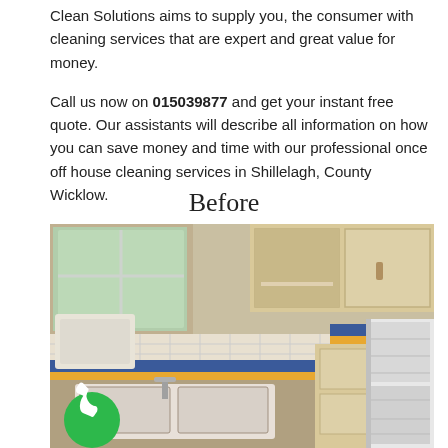Clean Solutions aims to supply you, the consumer with cleaning services that are expert and great value for money.
Call us now on 015039877 and get your instant free quote. Our assistants will describe all information on how you can save money and time with our professional once off house cleaning services in Shillelagh, County Wicklow.
Before
[Figure (photo): A kitchen 'before' photo showing dated beige/cream cabinets, blue and yellow tile trim on countertops, a white double sink with chrome tap, an open upper cabinet, a white fridge on the right, and a window on the left. A green phone call button is overlaid in the lower-left corner.]